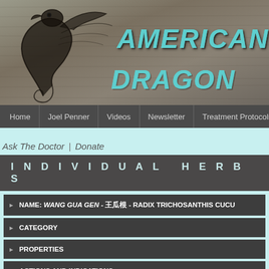[Figure (logo): American Dragon website header banner with wood-grain background texture, dragon logo on left, and 'AMERICAN DRAGON' text in teal/turquoise on right]
Home | Joel Penner | Videos | Newsletter | Treatment Protocols | Tu...
Ask The Doctor | Donate
INDIVIDUAL HERBS
NAME: WANG GUA GEN - 王瓜根 - RADIX TRICHOSANTHIS CUCU...
CATEGORY
PROPERTIES
ACTIONS AND INDICATIONS
CONTRAINDICATIONS, INCOMPATIBILITIES AND HERB/DRU...
MAJOR COMBINATIONS
NOTES